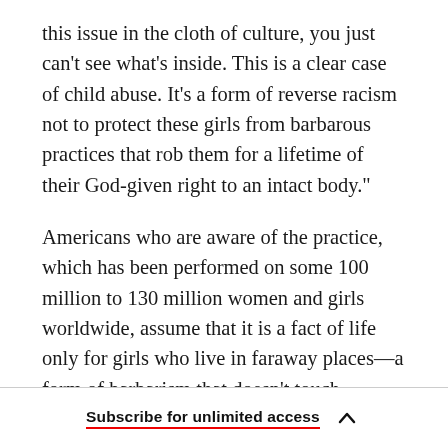this issue in the cloth of culture, you just can't see what's inside. This is a clear case of child abuse. It's a form of reverse racism not to protect these girls from barbarous practices that rob them for a lifetime of their God-given right to an intact body."
Americans who are aware of the practice, which has been performed on some 100 million to 130 million women and girls worldwide, assume that it is a fact of life only for girls who live in faraway places—a form of barbarism that doesn't touch American homes, schools, or doctor's offices. This is simply not true. As more and more African
Subscribe for unlimited access